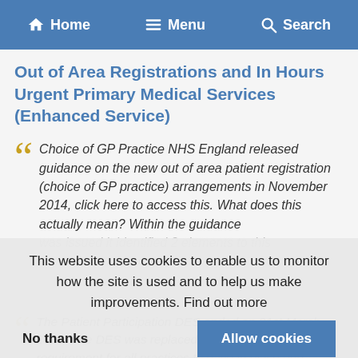Home   Menu   Search
Out of Area Registrations and In Hours Urgent Primary Medical Services (Enhanced Service)
Choice of GP Practice NHS England released guidance on the new out of area patient registration (choice of GP practice) arrangements in November 2014, click here to access this. What does this actually mean? Within the guidance was issued it identified 2 elements to this
This website uses cookies to enable us to monitor how the site is used and to help us make improvements. Find out more
No thanks
Allow cookies
The Patient Participation DES ended on 31st March 2015. The DES was replaced by a contractual requirement for all practices to have in place and maintain a